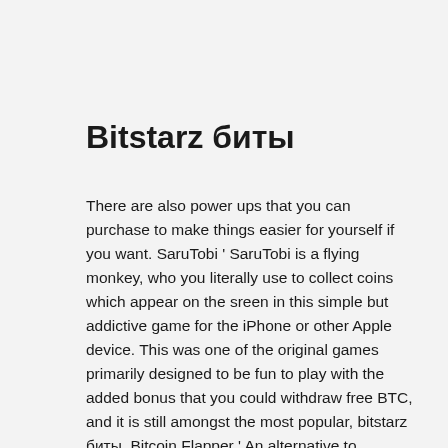Bitstarz биты
There are also power ups that you can purchase to make things easier for yourself if you want. SaruTobi ' SaruTobi is a flying monkey, who you literally use to collect coins which appear on the sreen in this simple but addictive game for the iPhone or other Apple device. This was one of the original games primarily designed to be fun to play with the added bonus that you could withdraw free BTC, and it is still amongst the most popular, bitstarz биты. Bitcoin Flapper ' An alternative to SaruTobi for Android users is this flying game in which you can challenge your friends to play with your in tournaments, and the winner is rewarded with a BTC prize by the game.
Companies sponsor our featured contests so